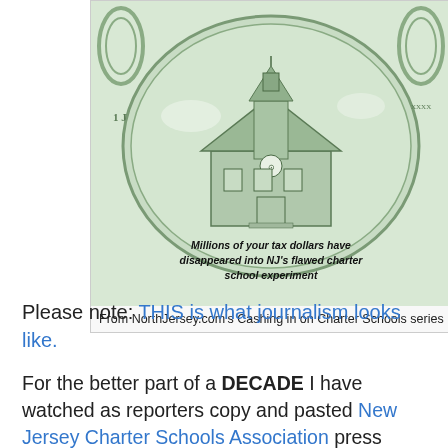[Figure (illustration): Illustration styled like a U.S. dollar bill medallion showing a school building with a clock tower, with text overlay reading 'Millions of your tax dollars have disappeared into NJ's flawed charter school experiment']
From NorthJersey.com's Cashing in on Charter Schools series
Please note: THIS is what journalism looks like.
For the better part of a DECADE I have watched as reporters copy and pasted New Jersey Charter Schools Association press releases about the need for more charters in our state, without EVER digging beneath the surface of